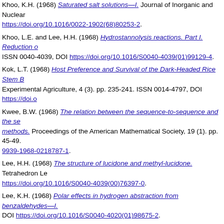Khoo, K.H. (1968) Saturated salt solutions—I. Journal of Inorganic and Nuclear Chemistry. https://doi.org/10.1016/0022-1902(68)80253-2.
Khoo, L.E. and Lee, H.H. (1968) Hydrostannolysis reactions. Part I. Reduction of... ISSN 0040-4039, DOI https://doi.org/10.1016/S0040-4039(01)99129-4.
Kok, L.T. (1968) Host Preference and Survival of the Dark-Headed Rice Stem B... Experimental Agriculture, 4 (3). pp. 235-241. ISSN 0014-4797, DOI https://doi.o...
Kwee, B.W. (1968) The relation between the sequence-to-sequence and the se... methods. Proceedings of the American Mathematical Society, 19 (1). pp. 45-49. 9939-1968-0218787-1.
Lee, H.H. (1968) The structure of lucidone and methyl-lucidone. Tetrahedron Le... https://doi.org/10.1016/S0040-4039(00)76397-0.
Lee, K.H. (1968) Polar effects in hydrogen abstraction from benzaldehydes—I. DOI https://doi.org/10.1016/S0040-4020(01)98675-2.
Lim, S.L.H. (1968) Sclerotised hard parts of Quadriacanthus kobiensis Ha, 1968...
Loke, K.H. and Gan, Chong Yong (1968) 14α-hydroxylation of oestrone by porc... 128X, DOI https://doi.org/10.1016/S0039-128X(68)80100-X.
Lowry, J.B. (1968) Anthocyanin from a malayan member of the podocarpaceae... 9422, DOI https://doi.org/10.1016/S0031-9422(00)86671-6.
Teh, H.H. and Pang, C.K. (1968) Multiple precursors in an electromagnetic sho... Electronics, 24 (3). pp. 291-293. ISSN 0020-7217, DOI https://doi.org/10.1080/0...
Tung, H.F. and Raghavan, V. (1968) Effects of growth retardants on the growth... of Botany, 32 (3). pp. 509-519. ISSN 0305-7364, DOI https://doi.org/10.1093/o...